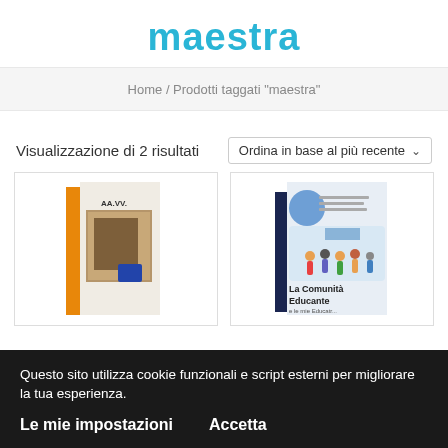maestra
Home / Prodotti taggati “maestra”
Visualizzazione di 2 risultati
Ordina in base al più recente
[Figure (photo): Book cover with orange spine and artwork image]
[Figure (photo): Book cover titled La Comunità Educante with illustration of people]
Questo sito utilizza cookie funzionali e script esterni per migliorare la tua esperienza.
Le mie impostazioni
Accetta